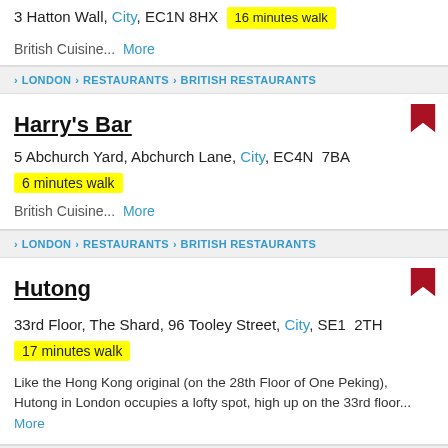3 Hatton Wall, City, EC1N 8HX  16 minutes walk
British Cuisine...  More
LONDON > RESTAURANTS > BRITISH RESTAURANTS
Harry's Bar
5 Abchurch Yard, Abchurch Lane, City, EC4N 7BA
6 minutes walk
British Cuisine...  More
LONDON > RESTAURANTS > BRITISH RESTAURANTS
Hutong
33rd Floor, The Shard, 96 Tooley Street, City, SE1 2TH
17 minutes walk
Like the Hong Kong original (on the 28th Floor of One Peking), Hutong in London occupies a lofty spot, high up on the 33rd floor... More
LONDON > RESTAURANTS > PAN-ASIAN RESTAURANTS